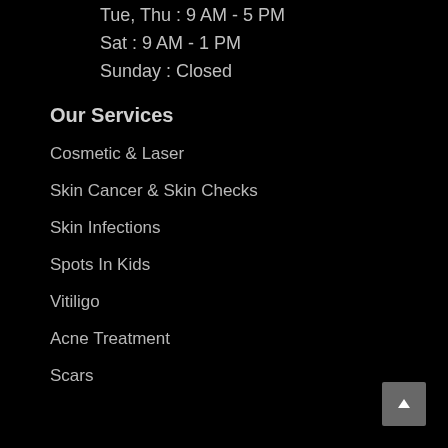Tue, Thu : 9 AM - 5 PM
Sat : 9 AM - 1 PM
Sunday : Closed
Our Services
Cosmetic & Laser
Skin Cancer & Skin Checks
Skin Infections
Spots In Kids
Vitiligo
Acne Treatment
Scars